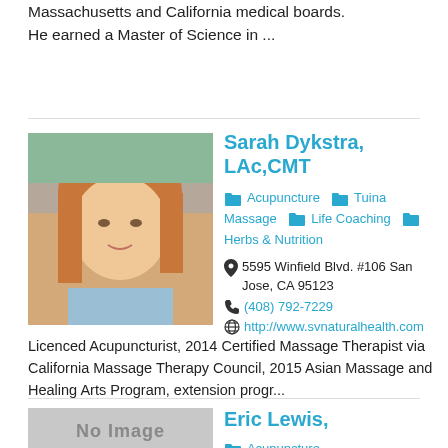Massachusetts and California medical boards. He earned a Master of Science in ...
Sarah Dykstra, LAc,CMT
Acupuncture  Tuina Massage  Life Coaching  Herbs & Nutrition
5595 Winfield Blvd. #106 San Jose, CA 95123
(408) 792-7229
http://www.svnaturalhealth.com
[Figure (photo): Portrait photo of Sarah Dykstra, a woman with reddish-blonde hair]
Licenced Acupuncturist, 2014 Certified Massage Therapist via California Massage Therapy Council, 2015 Asian Massage and Healing Arts Program, extension progr...
Eric Lewis,
Acupuncture
[Figure (photo): No Image placeholder for Eric Lewis]